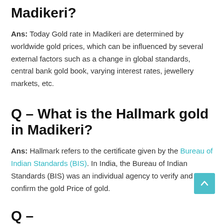Madikeri?
Ans: Today Gold rate in Madikeri are determined by worldwide gold prices, which can be influenced by several external factors such as a change in global standards, central bank gold book, varying interest rates, jewellery markets, etc.
Q – What is the Hallmark gold in Madikeri?
Ans: Hallmark refers to the certificate given by the Bureau of Indian Standards (BIS). In India, the Bureau of Indian Standards (BIS) was an individual agency to verify and confirm the gold Price of gold.
Q –